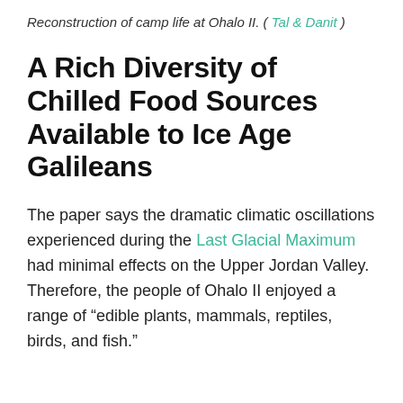Reconstruction of camp life at Ohalo II. ( Tal & Danit )
A Rich Diversity of Chilled Food Sources Available to Ice Age Galileans
The paper says the dramatic climatic oscillations experienced during the Last Glacial Maximum had minimal effects on the Upper Jordan Valley. Therefore, the people of Ohalo II enjoyed a range of “edible plants, mammals, reptiles, birds, and fish.”